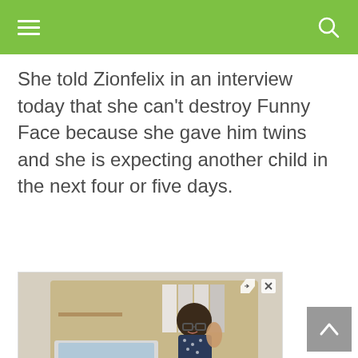Navigation bar with menu and search icons
She told Zionfelix in an interview today that she can’t destroy Funny Face because she gave him twins and she is expecting another child in the next four or five days.
[Figure (photo): Advertisement for Trident University showing a woman working on a laptop, with text 'Life Long Learning at Trident' and tagline 'Turn Your Educational Dreams into Reality at Trident University International.']